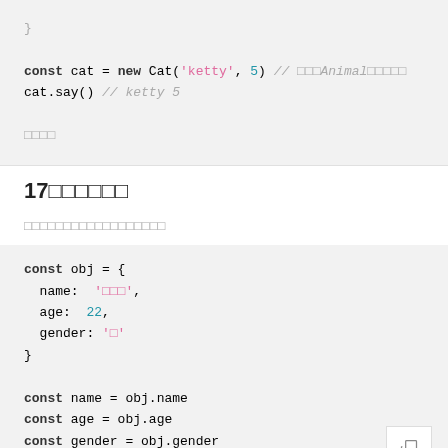const cat = new Cat('ketty', 5) // xxxAnimalxxxxx
cat.say() // ketty 5
xxxx
17xxxxxx
xxxxxxxxxxxxxxxxxx
const obj = {
  name: 'xxx',
  age: 22,
  gender: 'x'
}

const name = obj.name
const age = obj.age
const gender = obj.gender
console.log(name, age, gender) // xxx 22 x